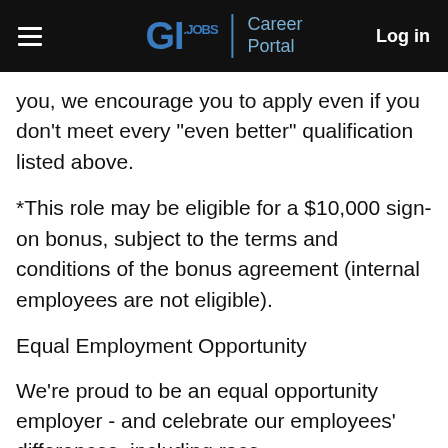G.I. Jobs | Career Portal  Log in
you, we encourage you to apply even if you don't meet every “even better” qualification listed above.
*This role may be eligible for a $10,000 sign-on bonus, subject to the terms and conditions of the bonus agreement (internal employees are not eligible).
Equal Employment Opportunity
We're proud to be an equal opportunity employer - and celebrate our employees' differences, including race,